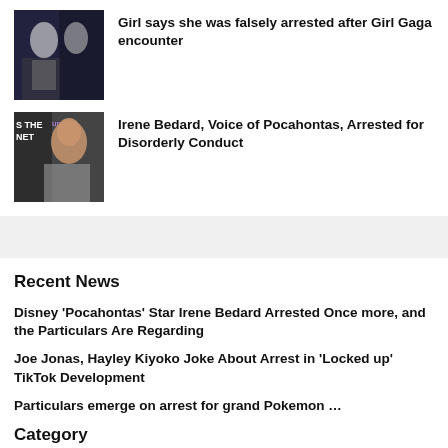[Figure (photo): Photo of Lady Gaga encounter news story thumbnail]
Girl says she was falsely arrested after Girl Gaga encounter
[Figure (photo): Photo of Irene Bedard for Pocahontas arrest story thumbnail]
Irene Bedard, Voice of Pocahontas, Arrested for Disorderly Conduct
Recent News
Disney 'Pocahontas' Star Irene Bedard Arrested Once more, and the Particulars Are Regarding
Joe Jonas, Hayley Kiyoko Joke About Arrest in 'Locked up' TikTok Development
Particulars emerge on arrest for grand Pokemon …
Category